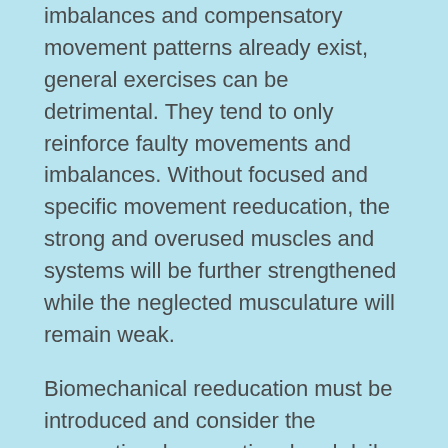imbalances and compensatory movement patterns already exist, general exercises can be detrimental. They tend to only reinforce faulty movements and imbalances. Without focused and specific movement reeducation, the strong and overused muscles and systems will be further strengthened while the neglected musculature will remain weak.
Biomechanical reeducation must be introduced and consider the occupational, recreational and daily activities. Oppositional movement patterns must be created to counteract imbalances and common repetitive positions. The importance of muscle recruitment, balance, spine segmental mobility, stabilization, and breathing techniques need to be properly learned to restore function